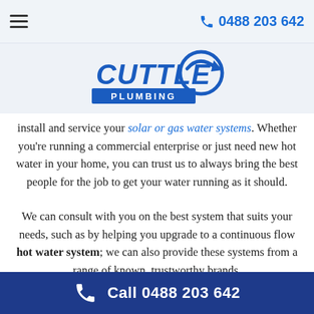☰   📞 0488 203 642
[Figure (logo): Cuttle Plumbing logo — stylized text 'CUTTLE' with a blue swoosh/wave graphic and 'PLUMBING' below]
install and service your solar or gas water systems. Whether you're running a commercial enterprise or just need new hot water in your home, you can trust us to always bring the best people for the job to get your water running as it should.
We can consult with you on the best system that suits your needs, such as by helping you upgrade to a continuous flow hot water system; we can also provide these systems from a range of known, trustworthy brands.
📞 Call 0488 203 642